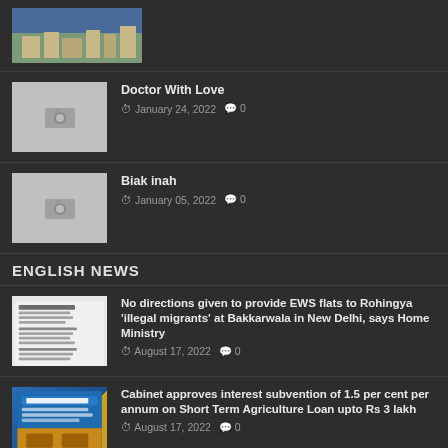[Figure (photo): Aerial/hillside town photograph thumbnail]
[Figure (photo): Placeholder camera icon thumbnail for Doctor With Love]
Doctor With Love
January 24, 2022  0
[Figure (photo): Placeholder camera icon thumbnail for Biak inah]
Biak inah
January 05, 2022  0
ENGLISH NEWS
[Figure (photo): Document/text screenshot thumbnail]
No directions given to provide EWS flats to Rohingya 'illegal migrants' at Bakkarwala in New Delhi, says Home Ministry
August 17, 2022  0
[Figure (photo): Blue cabinet meeting banner thumbnail]
Cabinet approves interest subvention of 1.5 per cent per annum on Short Term Agriculture Loan upto Rs 3 lakh
August 17, 2022  0